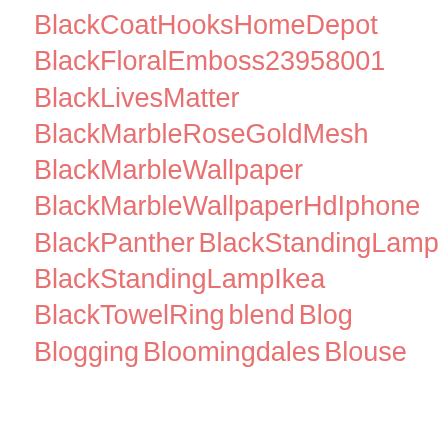BlackCoatHooksHomeDepot
BlackFloralEmboss23958001
BlackLivesMatter
BlackMarbleRoseGoldMesh
BlackMarbleWallpaper
BlackMarbleWallpaperHdIphone
BlackPanther
BlackStandingLamp
BlackStandingLampIkea
BlackTowelRing
blend
Blog
Blogging
Bloomingdales
Blouse